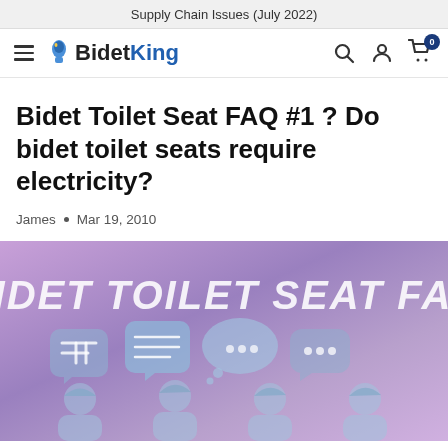Supply Chain Issues (July 2022)
[Figure (screenshot): BidetKing website navigation bar with hamburger menu, BidetKing logo, search icon, account icon, and cart icon with badge showing 0]
Bidet Toilet Seat FAQ #1 ? Do bidet toilet seats require electricity?
James • Mar 19, 2010
[Figure (illustration): Hero banner image with purple/lavender gradient background featuring bold italic white text 'BIDET TOILET SEAT FAQ' with speech bubble icons and silhouettes of people below]